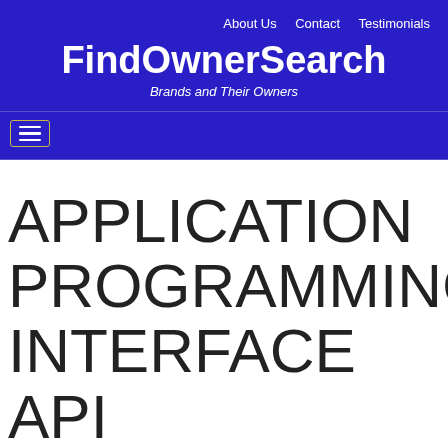About Us  Contact  Testimonials
FindOwnerSearch
Brands and Their Owners
[Figure (other): Hamburger menu button icon with three horizontal lines inside a bordered box]
APPLICATION PROGRAMMING INTERFACE API SOFTWARE